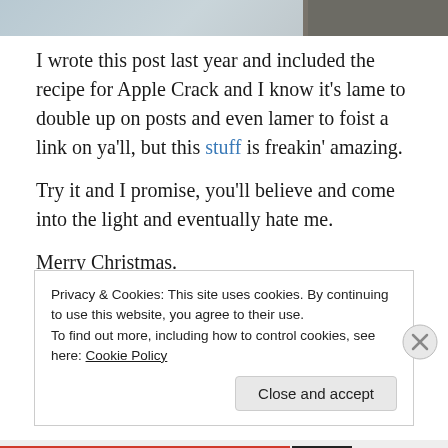[Figure (photo): Partial photo of food on a plate, visible at top of page strip]
I wrote this post last year and included the recipe for Apple Crack and I know it's lame to double up on posts and even lamer to foist a link on ya'll, but this stuff is freakin' amazing.
Try it and I promise, you'll believe and come into the light and eventually hate me.
Merry Christmas.
Privacy & Cookies: This site uses cookies. By continuing to use this website, you agree to their use.
To find out more, including how to control cookies, see here: Cookie Policy
Close and accept